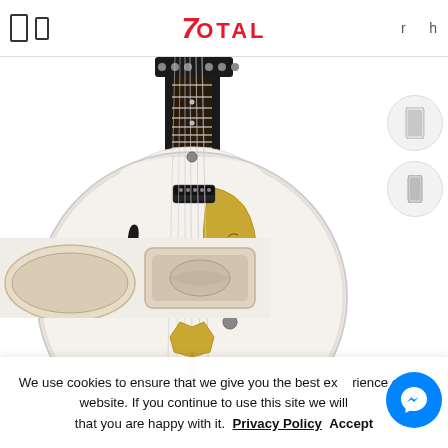7Total — website header with navigation icons and logo
[Figure (photo): White Gretsch hollow-body electric guitar with gold pickguard and black f-holes, shown against white background]
[Figure (photo): Thumbnail images of guitar case at bottom left]
We use cookies to ensure that we give you the best experience on our website. If you continue to use this site we will assume that you are happy with it.
Privacy Policy   Accept